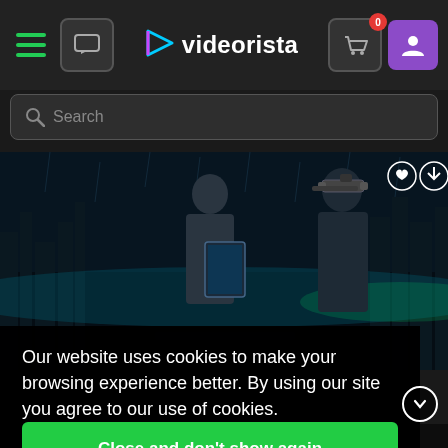videorista — navigation bar with hamburger menu, chat, logo, cart (0), user button
Search
[Figure (screenshot): Hero image showing two men in a dark futuristic cityscape scene. Left man in suit holding a transparent tablet, right man wearing AR headset. Teal and green city lights in background.]
Our website uses cookies to make your browsing experience better. By using our site you agree to our use of cookies. Learn more
Close and don't show again